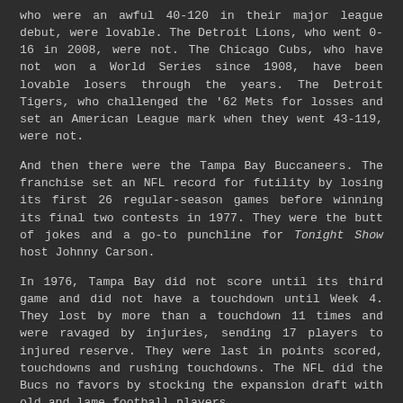who were an awful 40-120 in their major league debut, were lovable. The Detroit Lions, who went 0-16 in 2008, were not. The Chicago Cubs, who have not won a World Series since 1908, have been lovable losers through the years. The Detroit Tigers, who challenged the '62 Mets for losses and set an American League mark when they went 43-119, were not.
And then there were the Tampa Bay Buccaneers. The franchise set an NFL record for futility by losing its first 26 regular-season games before winning its final two contests in 1977. They were the butt of jokes and a go-to punchline for Tonight Show host Johnny Carson.
In 1976, Tampa Bay did not score until its third game and did not have a touchdown until Week 4. They lost by more than a touchdown 11 times and were ravaged by injuries, sending 17 players to injured reserve. They were last in points scored, touchdowns and rushing touchdowns. The NFL did the Bucs no favors by stocking the expansion draft with old and lame football players.
Lovable losers.